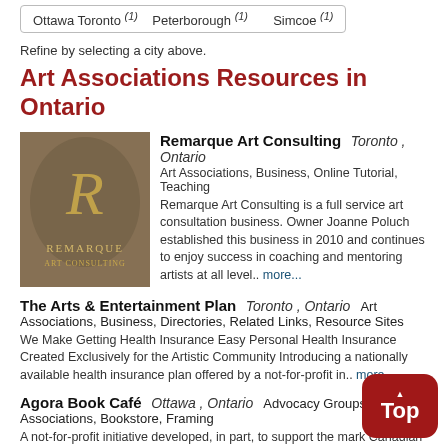Ottawa Toronto (1)   Peterborough (1)   Simcoe (1)
Refine by selecting a city above.
Art Associations Resources in Ontario
Remarque Art Consulting   Toronto , Ontario   Art Associations, Business, Online Tutorial, Teaching   Remarque Art Consulting is a full service art consultation business. Owner Joanne Poluch established this business in 2010 and continues to enjoy success in coaching and mentoring artists at all level..   more...
The Arts & Entertainment Plan   Toronto , Ontario   Art Associations, Business, Directories, Related Links, Resource Sites   We Make Getting Health Insurance Easy Personal Health Insurance Created Exclusively for the Artistic Community Introducing a nationally available health insurance plan offered by a not-for-profit in..   more...
Agora Book Café   Ottawa , Ontario   Advocacy Groups, Art Associations, Bookstore, Framing   A not-for-profit initiative developed, in part, to support the mark Canadian art, on behalf of Canadian artists. Artists are invited to s of original paintings and/or art prints fo..   more...
Alliance of Canadian Societies of Art   Toronto , Ontario   Art